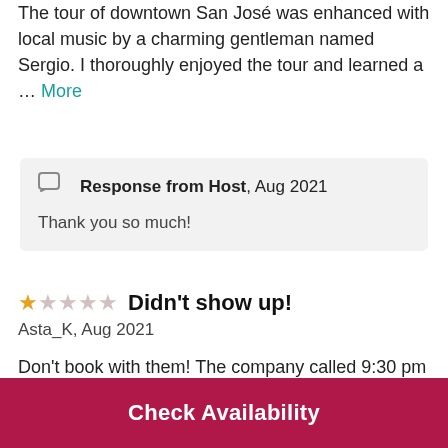The tour of downtown San José was enhanced with local music by a charming gentleman named Sergio. I thoroughly enjoyed the tour and learned a … More
Response from Host, Aug 2021
Thank you so much!
Didn't show up!
Asta_K, Aug 2021
Don't book with them! The company called 9:30 pm the night before the tour and offered 10 am tour instead of 2:30 pm. Since we had another tour
Check Availability